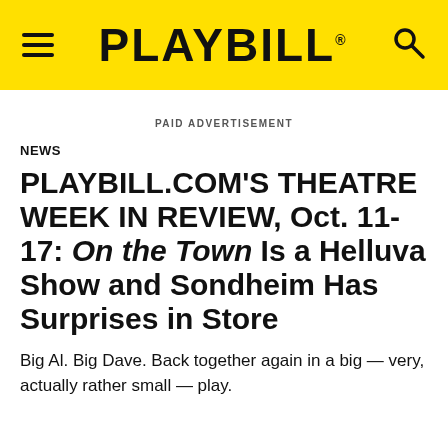PLAYBILL
PAID ADVERTISEMENT
NEWS
PLAYBILL.COM'S THEATRE WEEK IN REVIEW, Oct. 11-17: On the Town Is a Helluva Show and Sondheim Has Surprises in Store
Big Al. Big Dave. Back together again in a big — very, actually rather small — play.